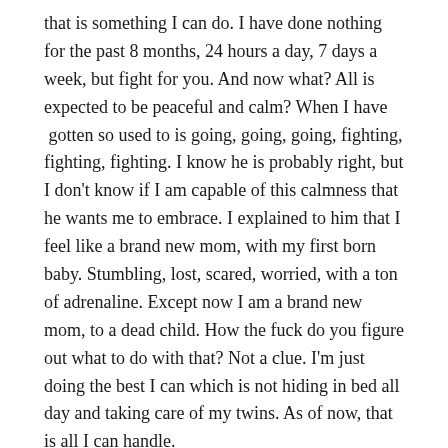that is something I can do. I have done nothing for the past 8 months, 24 hours a day, 7 days a week, but fight for you. And now what? All is expected to be peaceful and calm? When I have  gotten so used to is going, going, going, fighting, fighting, fighting. I know he is probably right, but I don't know if I am capable of this calmness that he wants me to embrace. I explained to him that I feel like a brand new mom, with my first born baby. Stumbling, lost, scared, worried, with a ton of adrenaline. Except now I am a brand new mom, to a dead child. How the fuck do you figure out what to do with that? Not a clue. I'm just doing the best I can which is not hiding in bed all day and taking care of my twins. As of now, that is all I can handle.
That is all for tonight my sweet baby boy and lovely peeps. Ambien induced sleep coming my way as that is the ONLY way I sleep now. Love you all to the moon...